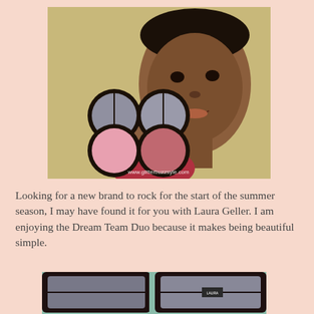[Figure (photo): A woman holding two compact makeup products (blush/powder duo) in front of her face, smiling. Watermark reads www.glitterbuzzsyle.com]
Looking for a new brand to rock for the start of the summer season, I may have found it for you with Laura Geller. I am enjoying the Dream Team Duo because it makes being beautiful simple.
[Figure (photo): Close-up photo of two open compact makeup products showing pink blush/powder pans with mirrors, labeled Laura Geller.]